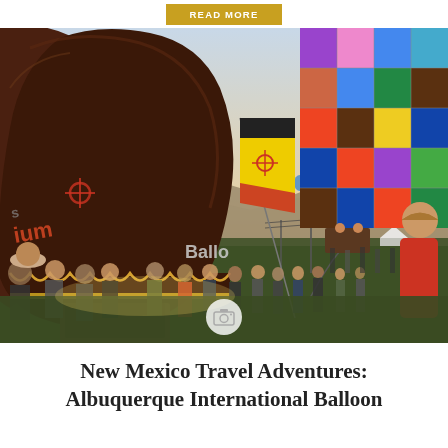[Figure (photo): Hot air balloons at the Albuquerque International Balloon Fiesta. A large brown balloon with 'ium' text and New Mexico zia symbol is visible at left, a colorful multi-colored balloon with blue, purple, red, green, yellow patches at upper right, a yellow and black flag with New Mexico symbol in the center, crowds of people on the ground, mountains in background, multiple balloons in the sky at dusk/dawn.]
New Mexico Travel Adventures: Albuquerque International Balloon